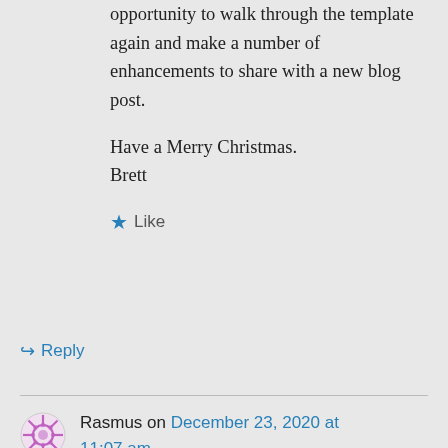opportunity to walk through the template again and make a number of enhancements to share with a new blog post.
Have a Merry Christmas.
Brett
★ Like
↪ Reply
Rasmus on December 23, 2020 at 11:07 am
Hi Brett
Thank you for your reply